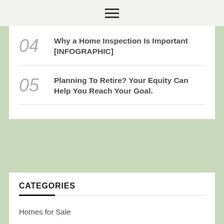☰
04 Why a Home Inspection Is Important [INFOGRAPHIC]
05 Planning To Retire? Your Equity Can Help You Reach Your Goal.
CATEGORIES
Homes for Sale
Market Info
Mid Century Modern
Purchased